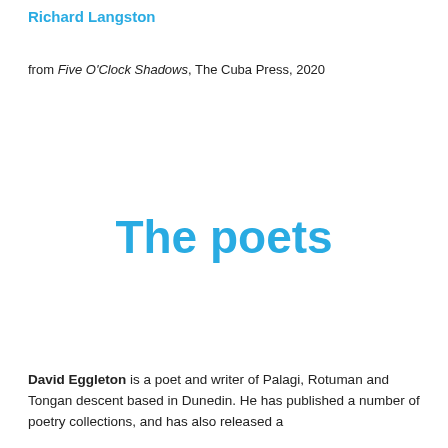Richard Langston
from Five O'Clock Shadows, The Cuba Press, 2020
The poets
David Eggleton is a poet and writer of Palagi, Rotuman and Tongan descent based in Dunedin. He has published a number of poetry collections, and has also released a